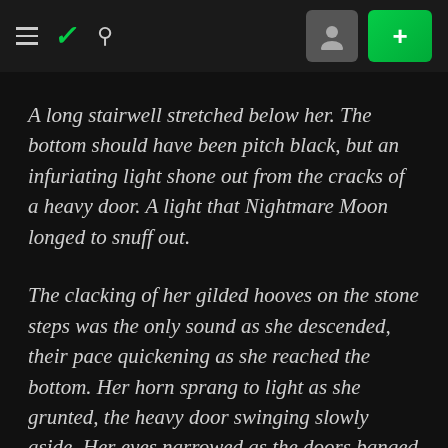DeviantArt navigation header with hamburger menu, DA logo, search icon, user icon button, and + add button
A long stairwell stretched below her. The bottom should have been pitch black, but an infuriating light shone out from the cracks of a heavy door. A light that Nightmare Moon longed to snuff out.
The clacking of her gilded hooves on the stone steps was the only sound as she descended, their pace quickening as she reached the bottom. Her horn sprang to light as she grunted, the heavy door swinging slowly aside. Her eyes narrowed as the doors banged against either wall, both from the radiant light and from the voice that greeted